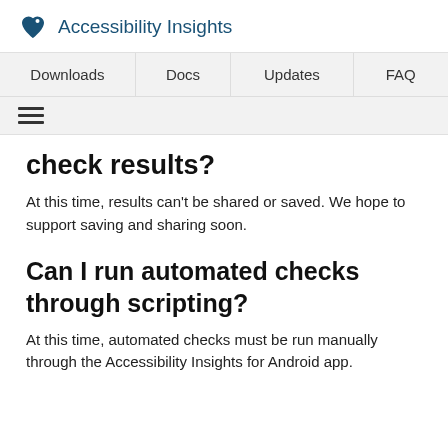Accessibility Insights
Downloads | Docs | Updates | FAQ
[Figure (other): Hamburger menu icon (three horizontal lines)]
check results?
At this time, results can't be shared or saved. We hope to support saving and sharing soon.
Can I run automated checks through scripting?
At this time, automated checks must be run manually through the Accessibility Insights for Android app.